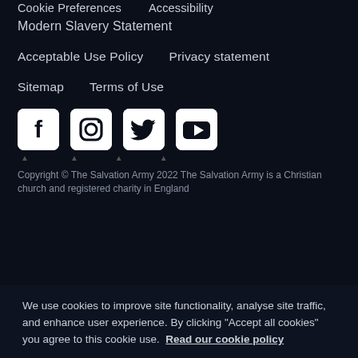Cookie Preferences   Accessibility
Modern Slavery Statement
Acceptable Use Policy   Privacy statement
Sitemap   Terms of Use
[Figure (illustration): Social media icons: Facebook, Instagram, Twitter, YouTube]
Copyright © The Salvation Army 2022 The Salvation Army is a Christian church and registered charity in England
We use cookies to improve site functionality, analyse site traffic, and enhance user experience. By clicking "Accept all cookies" you agree to this cookie use.  Read our cookie policy